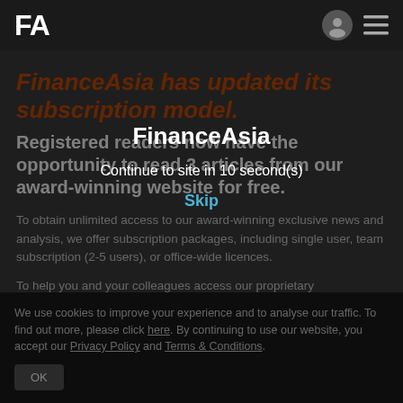FA
FinanceAsia has updated its subscription model.
Registered readers now have the opportunity to read 3 articles from our award-winning website for free.
To obtain unlimited access to our award-winning exclusive news and analysis, we offer subscription packages, including single user, team subscription (2-5 users), or office-wide licences.
To help you and your colleagues access our proprietary...
FinanceAsia
Continue to site in 10 second(s)
Skip
We use cookies to improve your experience and to analyse our traffic. To find out more, please click here. By continuing to use our website, you accept our Privacy Policy and Terms & Conditions.